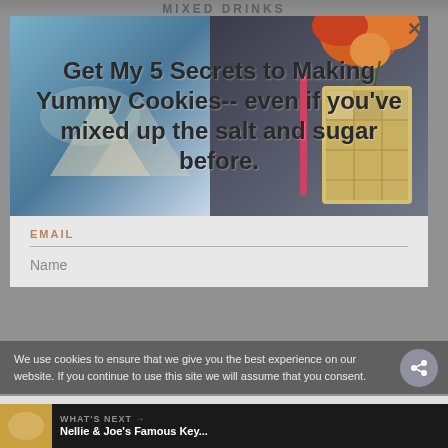MIXED DRINKS
[Figure (screenshot): Website popup modal with two food/drink images side by side. Left image shows cocktail glasses with geometric triangle pattern. Right image shows orange flowers and an ice cube tray. Over the images, large bold text reads: Get My 5 Secrets to Making Yummy Cookies-- even if you've mixed up the salt and sugar before.]
EMAIL
Name
We use cookies to ensure that we give you the best experience on our website. If you continue to use this site we will assume that you consent.
OK    NO    PRIVACY POLI...
WHAT'S NEXT → Nellie & Joe's Famous Key...